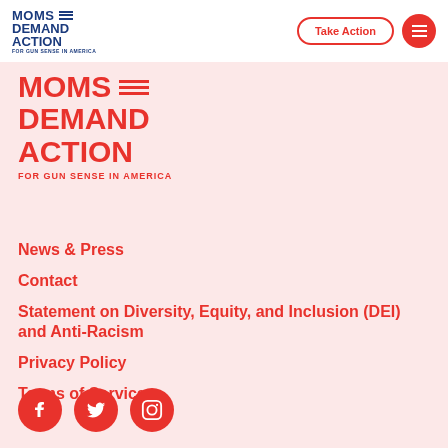[Figure (logo): Moms Demand Action for Gun Sense in America logo in navy blue, in navigation bar]
Take Action
[Figure (logo): Moms Demand Action for Gun Sense in America logo in red, large version in main content area]
News & Press
Contact
Statement on Diversity, Equity, and Inclusion (DEI) and Anti-Racism
Privacy Policy
Terms of Service
[Figure (logo): Social media icons: Facebook, Twitter, Instagram — red circles with white icons]